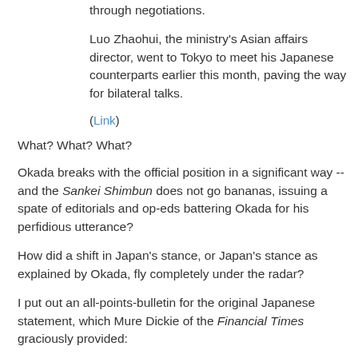through negotiations.
Luo Zhaohui, the ministry's Asian affairs director, went to Tokyo to meet his Japanese counterparts earlier this month, paving the way for bilateral talks.
(Link)
What? What? What?
Okada breaks with the official position in a significant way -- and the Sankei Shimbun does not go bananas, issuing a spate of editorials and op-eds battering Okada for his perfidious utterance?
How did a shift in Japan's stance, or Japan's stance as explained by Okada, fly completely under the radar?
I put out an all-points-bulletin for the original Japanese statement, which Mure Dickie of the Financial Times graciously provided: